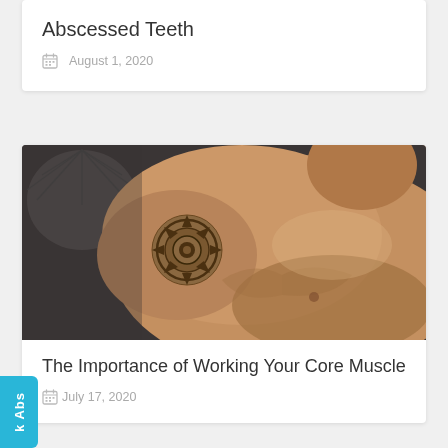Abscessed Teeth
August 1, 2020
[Figure (photo): Shirtless muscular man with tribal tattoo on shoulder, lying on dark tufted surface, photographed from above]
The Importance of Working Your Core Muscle
July 17, 2020